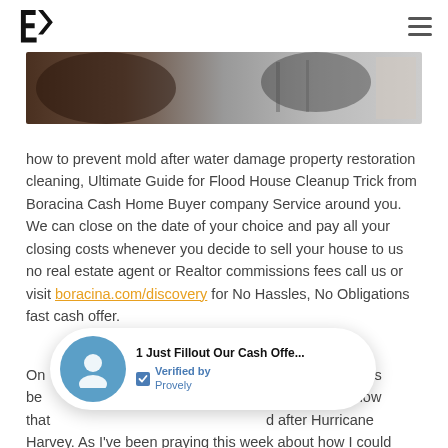Boracina (logo) | hamburger menu
[Figure (photo): Horizontal photo strip showing flood/water damage cleanup scene with dark and muted tones]
how to prevent mold after water damage property restoration cleaning, Ultimate Guide for Flood House Cleanup Trick from Boracina Cash Home Buyer company Service around you. We can close on the date of your choice and pay all your closing costs whenever you decide to sell your house to us no real estate agent or Realtor commissions fees call us or visit boracina.com/discovery for No Hassles, No Obligations fast cash offer.
[Figure (screenshot): Notification popup: '1 Just Fillout Our Cash Offe...' with avatar icon and 'Verified by Provely' badge]
On [partial] a house that's be[partial] you may know that[partial] d after Hurricane Harvey. As I've been praying this week about how I could help, I've got some crews going down this